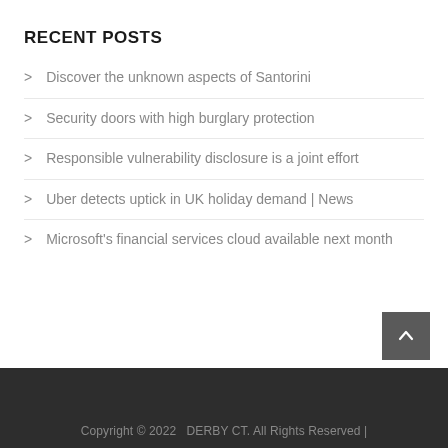RECENT POSTS
Discover the unknown aspects of Santorini
Security doors with high burglary protection
Responsible vulnerability disclosure is a joint effort
Uber detects uptick in UK holiday demand | News
Microsoft's financial services cloud available next month
Copyright © 2022   DERBY CT. All Rights Reserved |